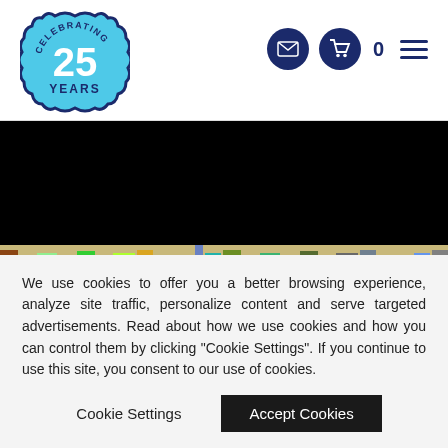[Figure (logo): Celebrating 25 Years badge logo - cloud/flower shaped badge in light blue with dark blue border, text 'CELEBRATING' arched on top, large '25' in center, 'YEARS' at bottom]
[Figure (other): Navigation icons: envelope/mail icon in dark blue circle, shopping cart icon in dark blue circle, cart count '0', hamburger menu icon (three horizontal lines)]
[Figure (photo): Hero image showing a retail store shelf with various colorful products. Top portion is black/dark, bottom portion shows a wide shelf display with many colorful packaged goods.]
We use cookies to offer you a better browsing experience, analyze site traffic, personalize content and serve targeted advertisements. Read about how we use cookies and how you can control them by clicking "Cookie Settings". If you continue to use this site, you consent to our use of cookies.
Cookie Settings
Accept Cookies